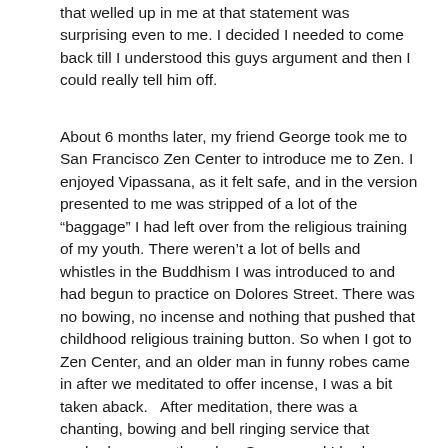that welled up in me at that statement was surprising even to me.  I decided I needed to come back till I understood this guys argument and then I could really tell him off.
About 6 months later, my friend George took me to San Francisco Zen Center to introduce me to Zen.  I enjoyed Vipassana, as it felt safe, and in the version presented to me was stripped of a lot of the “baggage” I had left over from the religious training of my youth.  There weren’t a lot of bells and whistles in the Buddhism I was introduced to and had begun to practice on Dolores Street.  There was no bowing, no incense and nothing that pushed that childhood religious training button.  So when I got to Zen Center, and an older man in funny robes came in after we meditated to offer incense, I was a bit taken aback.   After meditation, there was a chanting, bowing and bell ringing service that pushed me over the edge.  George and I had planned to have dinner at Zen Center when we were done, but I told him I couldn’t do it, and that I wouldn’t ever be coming back to Zen Center.  “I don’t want any of this extra crap with my dharma.”  Fast Forward to 6 years later, when I am